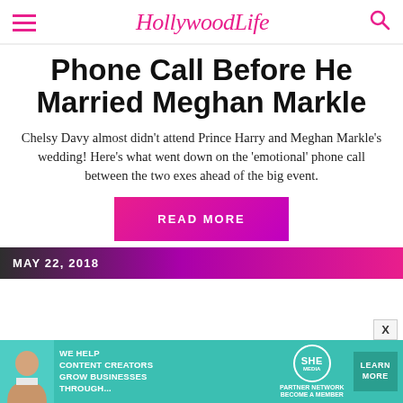HollywoodLife
Phone Call Before He Married Meghan Markle
Chelsy Davy almost didn't attend Prince Harry and Meghan Markle's wedding! Here's what went down on the 'emotional' phone call between the two exes ahead of the big event.
READ MORE
MAY 22, 2018
[Figure (screenshot): Advertisement banner: WE HELP CONTENT CREATORS GROW BUSINESSES THROUGH... SHE PARTNER NETWORK BECOME A MEMBER — LEARN MORE]